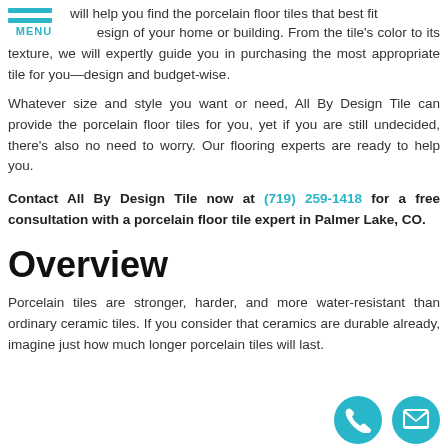MENU
will help you find the porcelain floor tiles that best fit design of your home or building. From the tile's color to its texture, we will expertly guide you in purchasing the most appropriate tile for you—design and budget-wise.
Whatever size and style you want or need, All By Design Tile can provide the porcelain floor tiles for you, yet if you are still undecided, there's also no need to worry. Our flooring experts are ready to help you.
Contact All By Design Tile now at (719) 259-1418 for a free consultation with a porcelain floor tile expert in Palmer Lake, CO.
Overview
Porcelain tiles are stronger, harder, and more water-resistant than ordinary ceramic tiles. If you consider that ceramics are durable already, imagine just how much longer porcelain tiles will last.